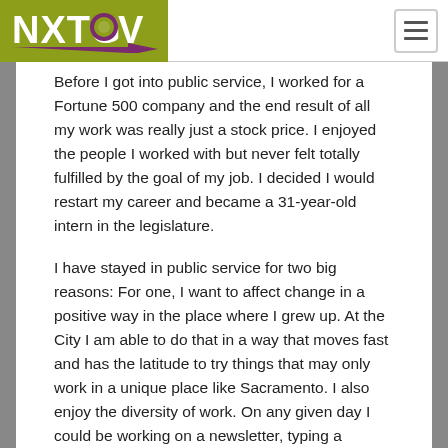NXTGOV
Before I got into public service, I worked for a Fortune 500 company and the end result of all my work was really just a stock price. I enjoyed the people I worked with but never felt totally fulfilled by the goal of my job. I decided I would restart my career and became a 31-year-old intern in the legislature.
I have stayed in public service for two big reasons: For one, I want to affect change in a positive way in the place where I grew up. At the City I am able to do that in a way that moves fast and has the latitude to try things that may only work in a unique place like Sacramento. I also enjoy the diversity of work. On any given day I could be working on a newsletter, typing a